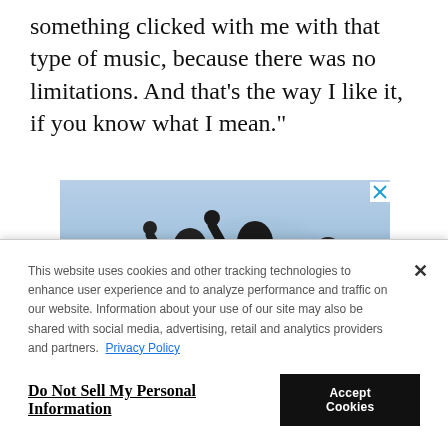something clicked with me with that type of music, because there was no limitations. And that's the way I like it, if you know what I mean."
[Figure (photo): Advertisement featuring four women with fists raised in celebration, with the text 'Thunder Mother' in red and yellow stylized lettering at the bottom. A close (X) button appears in the top right corner of the ad.]
This website uses cookies and other tracking technologies to enhance user experience and to analyze performance and traffic on our website. Information about your use of our site may also be shared with social media, advertising, retail and analytics providers and partners. Privacy Policy
Do Not Sell My Personal Information
Accept Cookies